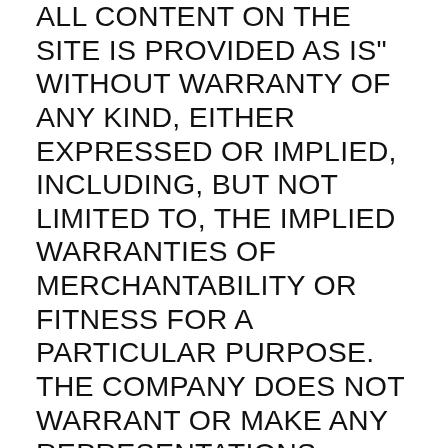ALL CONTENT ON THE SITE IS PROVIDED AS IS" WITHOUT WARRANTY OF ANY KIND, EITHER EXPRESSED OR IMPLIED, INCLUDING, BUT NOT LIMITED TO, THE IMPLIED WARRANTIES OF MERCHANTABILITY OR FITNESS FOR A PARTICULAR PURPOSE. THE COMPANY DOES NOT WARRANT OR MAKE ANY REPRESENTATIONS REGARDING THE USE OF THE MATERIALS IN THE SITE, THE RESULTS OF THE USE OF SUCH MATERIALS, THE SUITABILITY OF SUCH MATERIALS FOR ANY USER'S NEEDS OR THE LIKELIHOOD THAT THEIR USE WILL MEET ANY USER'S EXPECTATIONS, OR THEIR CORRECTNESS, ACCURACY, RELIABILITY, OR CORRECTION. THE COMPANY LIKEWISE DOES NOT WARRANT OR MAKE ANY REPRESENTATIONS OR GUARANTEES THAT YOU WILL EARN ANY